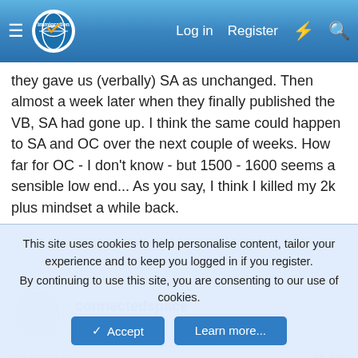immigration.com — Log in | Register
they gave us (verbally) SA as unchanged. Then almost a week later when they finally published the VB, SA had gone up. I think the same could happen to SA and OC over the next couple of weeks. How far for OC - I don't know - but 1500 - 1600 seems a sensible low end... As you say, I think I killed my 2k plus mindset a while back.
connectedspace
Active Member
Jul 9, 2014  #1,495
Britsimon said:
This site uses cookies to help personalise content, tailor your experience and to keep you logged in if you register.
By continuing to use this site, you are consenting to our use of cookies.